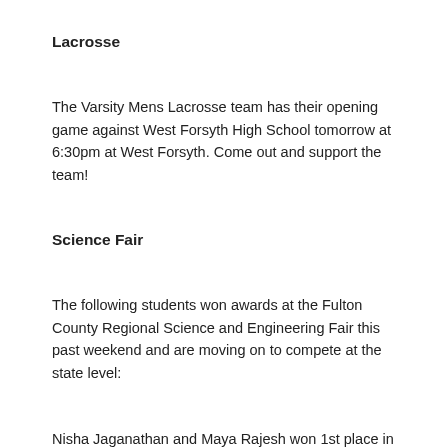Lacrosse
The Varsity Mens Lacrosse team has their opening game against West Forsyth High School tomorrow at 6:30pm at West Forsyth. Come out and support the team!
Science Fair
The following students won awards at the Fulton County Regional Science and Engineering Fair this past weekend and are moving on to compete at the state level:
Nisha Jaganathan and Maya Rajesh won 1st place in Animal Sciences
Varsha Jacob won 1st place in Mathematics
Tanishk Deo won 1st place in Software Systems